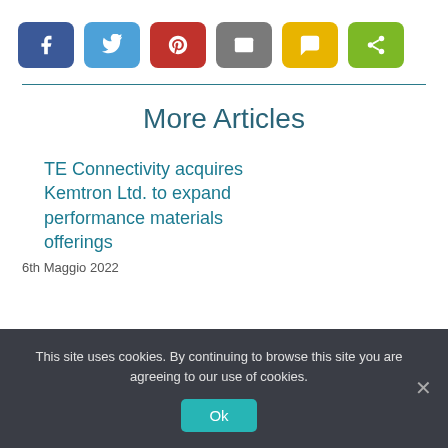[Figure (other): Row of social share buttons: Facebook (blue), Twitter (light blue), Pinterest (red), Email (grey), SMS (yellow), Share (green)]
More Articles
TE Connectivity acquires Kemtron Ltd. to expand performance materials offerings
6th Maggio 2022
This site uses cookies. By continuing to browse this site you are agreeing to our use of cookies.